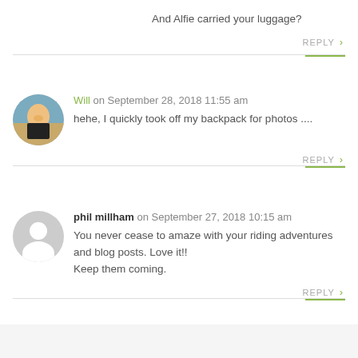And Alfie carried your luggage?
REPLY >
Will on September 28, 2018 11:55 am
hehe, I quickly took off my backpack for photos ....
REPLY >
phil millham on September 27, 2018 10:15 am
You never cease to amaze with your riding adventures and blog posts. Love it!!
Keep them coming.
REPLY >